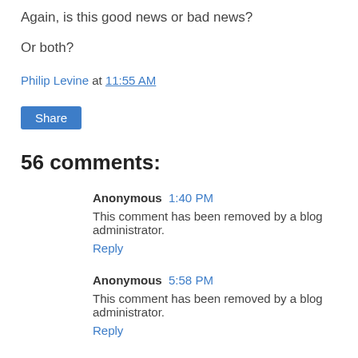Again, is this good news or bad news?
Or both?
Philip Levine at 11:55 AM
Share
56 comments:
Anonymous 1:40 PM
This comment has been removed by a blog administrator.
Reply
Anonymous 5:58 PM
This comment has been removed by a blog administrator.
Reply